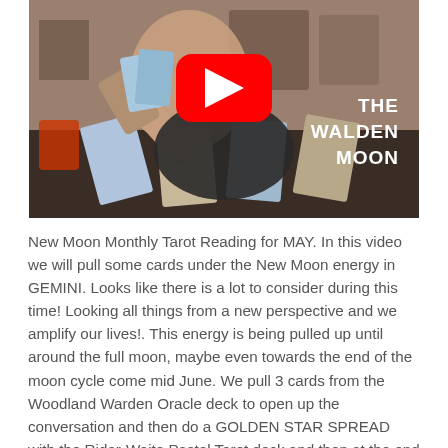[Figure (screenshot): YouTube video thumbnail showing a woman holding tarot cards at a table with cards spread out. A YouTube play button is visible in the center. Text in the upper right reads 'THE WALDEN MOON' in white bold letters.]
New Moon Monthly Tarot Reading for MAY. In this video we will pull some cards under the New Moon energy in GEMINI. Looks like there is a lot to consider during this time! Looking all things from a new perspective and we amplify our lives!. This energy is being pulled up until around the full moon, maybe even towards the end of the moon cycle come mid June. We pull 3 cards from the Woodland Warden Oracle deck to open up the conversation and then do a GOLDEN STAR SPREAD with the Rider-Waite Pastel Tarot deck and then at the end we pull 3 cards from the Dali Salvador deck as inspiration moving forward! This video is intended to inspire you and should never been taken as factual legal,